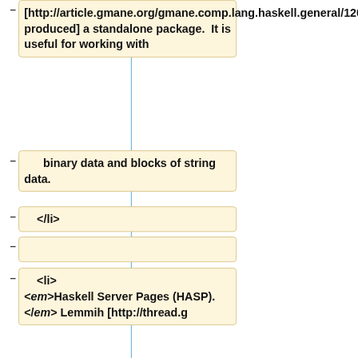[http://article.gmane.org/gmane.comp.lang.haskell.general/12003 produced] a standalone package.  It is useful for working with
binary data and blocks of string data.
</li>
<li> <em>Haskell Server Pages (HASP).</em> Lemmih [http://thread.g